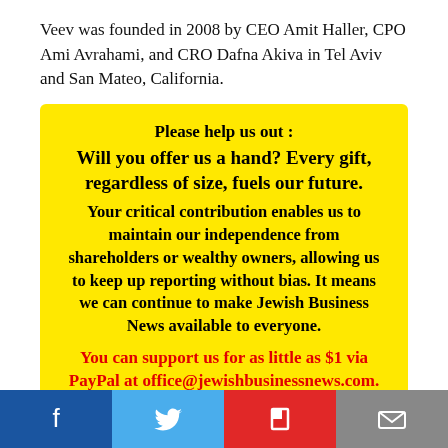Veev was founded in 2008 by CEO Amit Haller, CPO Ami Avrahami, and CRO Dafna Akiva in Tel Aviv and San Mateo, California.
Please help us out :
Will you offer us a hand? Every gift, regardless of size, fuels our future.
Your critical contribution enables us to maintain our independence from shareholders or wealthy owners, allowing us to keep up reporting without bias. It means we can continue to make Jewish Business News available to everyone.
You can support us for as little as $1 via PayPal at office@jewishbusinessnews.com.
[Figure (other): Social media sharing bar with Facebook, Twitter, Flipboard, and email buttons]